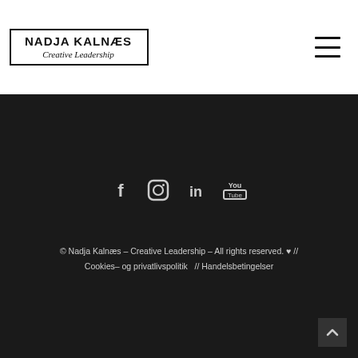[Figure (logo): Nadja Kalnæs Creative Leadership logo with rectangular border, bold all-caps name and italic script subtitle]
[Figure (other): Hamburger menu icon (three horizontal bars)]
[Figure (other): Social media icons: Facebook, Instagram, LinkedIn, YouTube on dark background]
© Nadja Kalnæs – Creative Leadership – All rights reserved. ♥ // Cookies– og privatlivspolitik  // Handelsbetingelser
[Figure (other): Back to top button with upward chevron arrow]